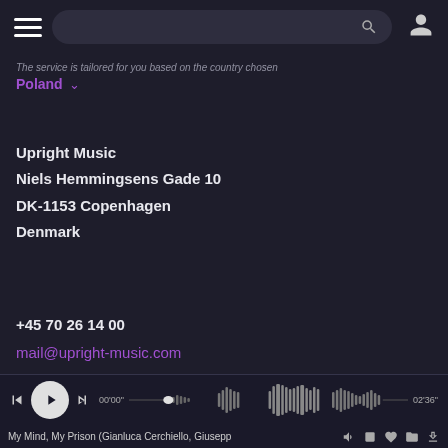[Figure (screenshot): Top navigation bar with hamburger menu, search bar with magnifying glass icon, and user profile icon]
The service is tailored for you based on the country chosen
Poland
Upright Music
Niels Hemmingsens Gade 10
DK-1153 Copenhagen
Denmark
+45 70 26 14 00
mail@upright-music.com
[Figure (screenshot): Audio player bar with previous, play, next buttons, time 00'00" on left and 02'36" on right, waveform visualization in center]
My Mind, My Prison (Gianluca Cerchiello, Giusepp